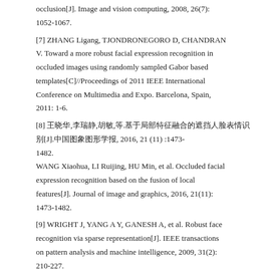occlusion[J]. Image and vision computing, 2008, 26(7): 1052-1067.
[7] ZHANG Ligang, TJONDRONEGORO D, CHANDRAN V. Toward a more robust facial expression recognition in occluded images using randomly sampled Gabor based templates[C]//Proceedings of 2011 IEEE International Conference on Multimedia and Expo. Barcelona, Spain, 2011: 1-6.
[8] 王晓华,李瑞静,胡敏,等.基于局部特征融合的遮挡人脸表情识别[J].中国图象图形学报, 2016, 21 (11) :1473-1482.
WANG Xiaohua, LI Ruijing, HU Min, et al. Occluded facial expression recognition based on the fusion of local features[J]. Journal of image and graphics, 2016, 21(11): 1473-1482.
[9] WRIGHT J, YANG A Y, GANESH A, et al. Robust face recognition via sparse representation[J]. IEEE transactions on pattern analysis and machine intelligence, 2009, 31(2): 210-227.